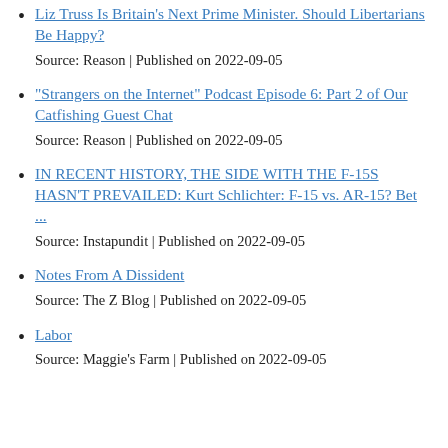Liz Truss Is Britain's Next Prime Minister. Should Libertarians Be Happy?
Source: Reason | Published on 2022-09-05
"Strangers on the Internet" Podcast Episode 6: Part 2 of Our Catfishing Guest Chat
Source: Reason | Published on 2022-09-05
IN RECENT HISTORY, THE SIDE WITH THE F-15S HASN'T PREVAILED: Kurt Schlichter: F-15 vs. AR-15? Bet ...
Source: Instapundit | Published on 2022-09-05
Notes From A Dissident
Source: The Z Blog | Published on 2022-09-05
Labor
Source: Maggie's Farm | Published on 2022-09-05